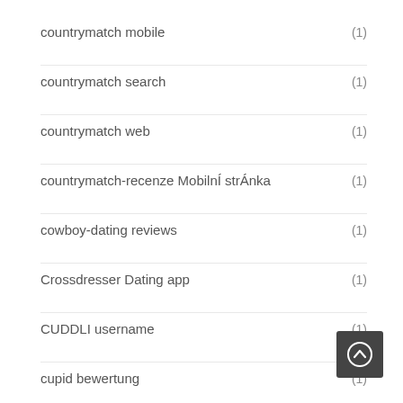countrymatch mobile (1)
countrymatch search (1)
countrymatch web (1)
countrymatch-recenze MobilnÍ strÁnka (1)
cowboy-dating reviews (1)
Crossdresser Dating app (1)
CUDDLI username (1)
cupid bewertung (1)
cupid come funziona (1)